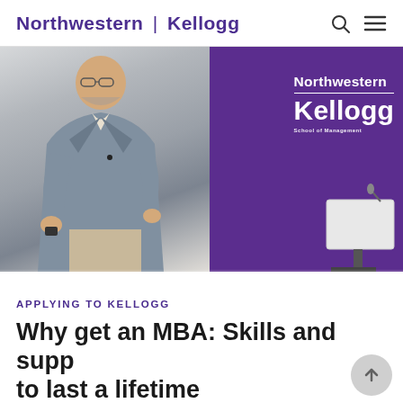Northwestern | Kellogg
[Figure (photo): A man in a grey blazer presenting or speaking at an event, standing in front of a purple Northwestern Kellogg School of Management banner with a podium visible on the right.]
APPLYING TO KELLOGG
Why get an MBA: Skills and support to last a lifetime